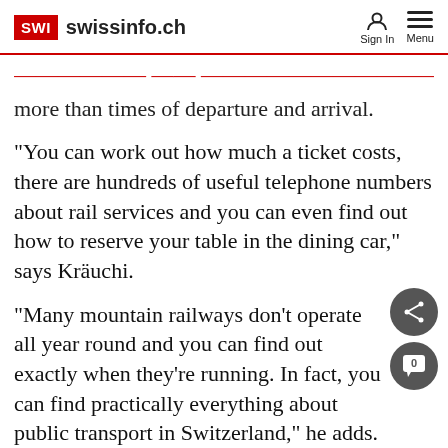SWI swissinfo.ch — Sign In  Menu
…more than times of departure and arrival.
"You can work out how much a ticket costs, there are hundreds of useful telephone numbers about rail services and you can even find out how to reserve your table in the dining car," says Kräuchi.
"Many mountain railways don't operate all year round and you can find out exactly when they're running. In fact, you can find practically everything about public transport in Switzerland," he adds.